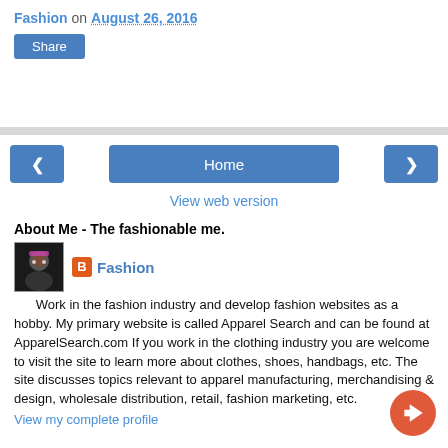Fashion on August 26, 2016
Share
Home
View web version
About Me - The fashionable me.
Fashion
Work in the fashion industry and develop fashion websites as a hobby. My primary website is called Apparel Search and can be found at ApparelSearch.com If you work in the clothing industry you are welcome to visit the site to learn more about clothes, shoes, handbags, etc. The site discusses topics relevant to apparel manufacturing, merchandising & design, wholesale distribution, retail, fashion marketing, etc.
View my complete profile